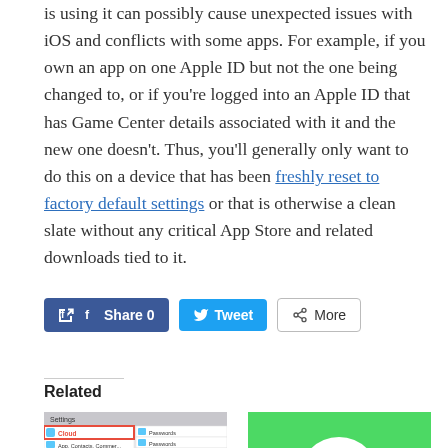is using it can possibly cause unexpected issues with iOS and conflicts with some apps. For example, if you own an app on one Apple ID but not the one being changed to, or if you're logged into an Apple ID that has Game Center details associated with it and the new one doesn't. Thus, you'll generally only want to do this on a device that has been freshly reset to factory default settings or that is otherwise a clean slate without any critical App Store and related downloads tied to it.
[Figure (screenshot): Social sharing buttons: Facebook Share 0, Tweet, More]
Related
[Figure (screenshot): Screenshot of iOS iCloud settings panel with highlighted Cloud option]
[Figure (screenshot): Green background with white circle icon]